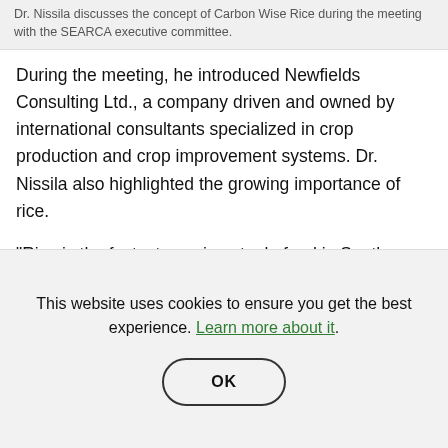Dr. Nissila discusses the concept of Carbon Wise Rice during the meeting with the SEARCA executive committee.
During the meeting, he introduced Newfields Consulting Ltd., a company driven and owned by international consultants specialized in crop production and crop improvement systems. Dr. Nissila also highlighted the growing importance of rice.
“Rice is the fastest growing staple food in South Africa. It is also a cultural crop. Rice carbon footprint contributes to global GHG, methane, and agricultural nitrous oxide
This website uses cookies to ensure you get the best experience. Learn more about it.